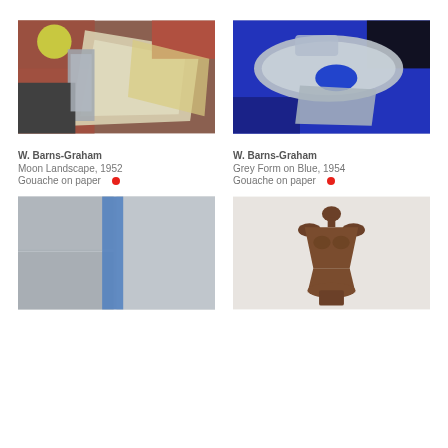[Figure (photo): Abstract gouache painting 'Moon Landscape' by W. Barns-Graham, 1952 – geometric shapes in grey, cream, rust, and black tones]
[Figure (photo): Abstract gouache painting 'Grey Form on Blue' by W. Barns-Graham, 1954 – grey amorphous form on deep blue background]
W. Barns-Graham
Moon Landscape, 1952
Gouache on paper
W. Barns-Graham
Grey Form on Blue, 1954
Gouache on paper
[Figure (photo): Abstract painting with grey stone-like blocks and a vertical blue stripe]
[Figure (photo): Bronze sculpture of a female torso on white/light grey background]